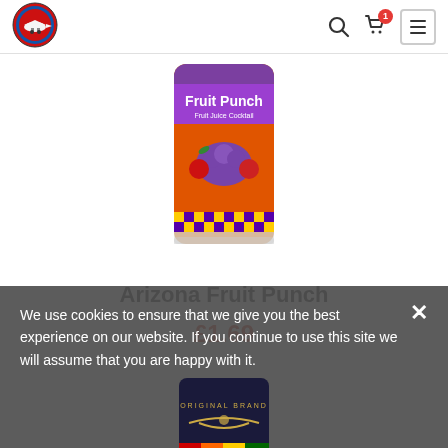[Figure (logo): Circular logo with a cartoon plane/truck on red/blue circular badge, website logo]
[Figure (photo): Arizona Fruit Punch can/bottle with colorful fruit punch label showing cherries and grapes on purple/yellow checkered pattern]
Arizona Fruit Punch
£1.69
We use cookies to ensure that we give you the best experience on our website. If you continue to use this site we will assume that you are happy with it.
[Figure (photo): Partially visible second product can with dark label, partially hidden behind cookie banner]